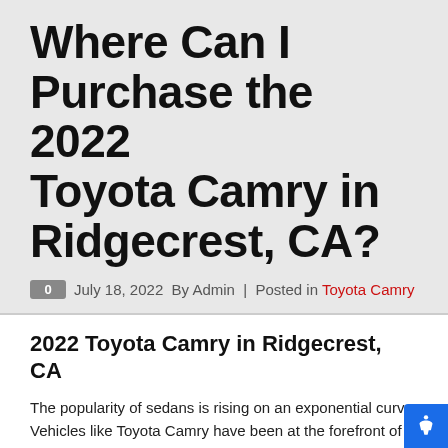Where Can I Purchase the 2022 Toyota Camry in Ridgecrest, CA?
July 18, 2022  By Admin  |  Posted in  Toyota Camry
2022 Toyota Camry in Ridgecrest, CA
The popularity of sedans is rising on an exponential curve. Vehicles like Toyota Camry have been at the forefront of the sedan segment for decades. It has been close to four decades since the launch of the Toyota Camry, and each model year, the vehicle manages to stay relevant and amass a broad demographic of customers in the United States. If you ask us, the popularity of the Toyota Camry is due to its versatility. Customers are convinced that the Toyota Camry is